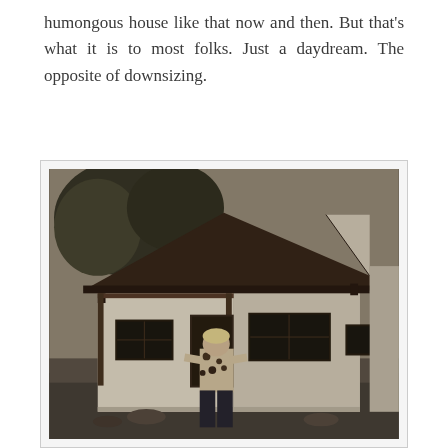humongous house like that now and then. But that's what it is to most folks. Just a daydream. The opposite of downsizing.
[Figure (photo): Black and white photograph of a child standing in front of a small white playhouse with a dark shingled roof, windows, and a door. Trees are visible in the background.]